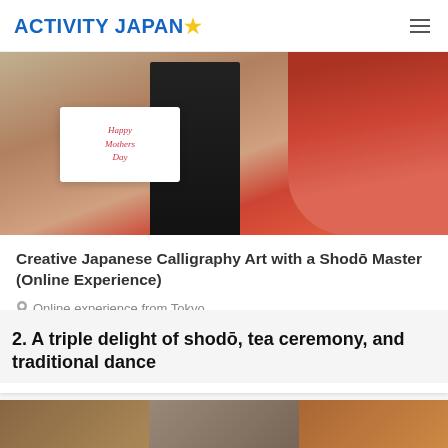ACTIVITY JAPAN
[Figure (photo): Person in red clothing holding a white card with calligraphy text reading Happy Mothers Day]
Creative Japanese Calligraphy Art with a Shodō Master (Online Experience)
Online experience from Tokyo
3,000 yen
Go to plan details
2. A triple delight of shodō, tea ceremony, and traditional dance
[Figure (photo): Bottom strip showing partial images of activities]